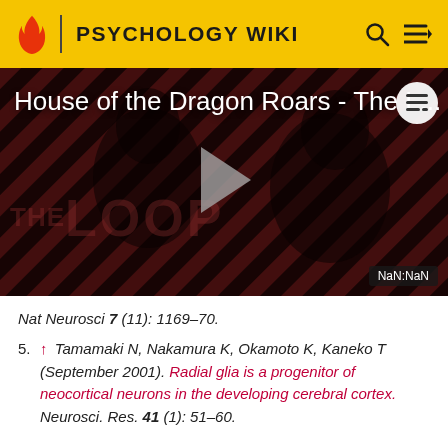PSYCHOLOGY WIKI
[Figure (screenshot): Video thumbnail for 'House of the Dragon Roars - The L...' on Psychology Wiki / The Loop, with a play button overlay and NaN:NaN timestamp badge]
Nat Neurosci 7 (11): 1169–70.
5. ↑ Tamamaki N, Nakamura K, Okamoto K, Kaneko T (September 2001). Radial glia is a progenitor of neocortical neurons in the developing cerebral cortex. Neurosci. Res. 41 (1): 51–60.